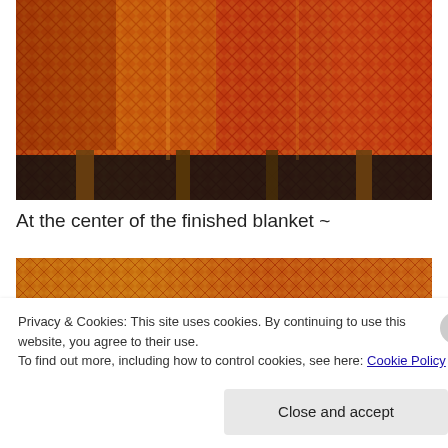[Figure (photo): Close-up photo of a woven herringbone textile in warm orange, red, and gold tones, mounted on a loom with wooden supports visible at the bottom.]
At the center of the finished blanket ~
[Figure (photo): Second photo showing a woven herringbone textile in warm orange, gold, and red tones — the center section of the finished blanket.]
Privacy & Cookies: This site uses cookies. By continuing to use this website, you agree to their use.
To find out more, including how to control cookies, see here: Cookie Policy